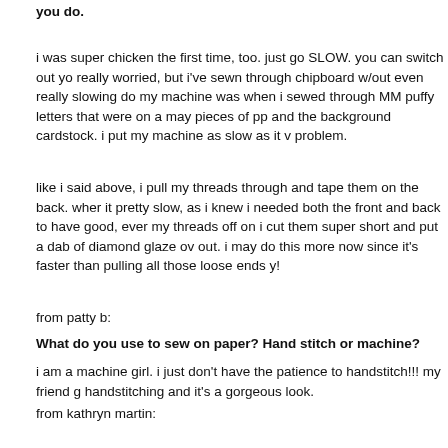you do.
i was super chicken the first time, too. just go SLOW. you can switch out yo really worried, but i've sewn through chipboard w/out even really slowing do my machine was when i sewed through MM puffy letters that were on a ma pieces of pp and the background cardstock. i put my machine as slow as it v problem.
like i said above, i pull my threads through and tape them on the back. wher it pretty slow, as i knew i needed both the front and back to have good, ever my threads off on i cut them super short and put a dab of diamond glaze ov out. i may do this more now since it's faster than pulling all those loose ends y!
from patty b:
What do you use to sew on paper? Hand stitch or machine?
i am a machine girl. i just don't have the patience to handstitch!!! my friend g handstitching and it's a gorgeous look.
from kathryn martin:
Last night, on the other hand, I was trying to sew right over a few pictu all! The sewing foot kept wanting to stick to the gloss of the photo and the indent that the foot of the sewing machine made on the photos. So